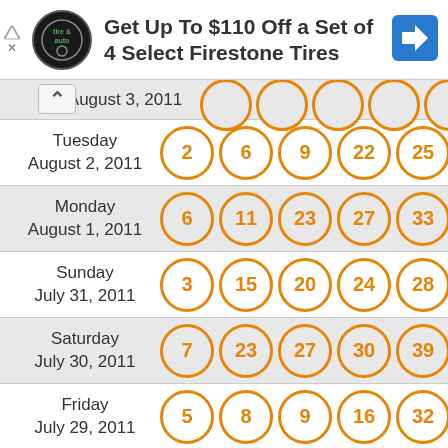[Figure (infographic): Advertisement banner: Virginia Tire & Auto logo, text 'Get Up To $110 Off a Set of 4 Select Firestone Tires', blue navigation arrow icon]
| Date | Numbers |
| --- | --- |
| August 3, 2011 (partial) | ... |
| Tuesday August 2, 2011 | 2 6 9 22 25 |
| Monday August 1, 2011 | 6 11 23 27 33 |
| Sunday July 31, 2011 | 3 15 20 24 28 |
| Saturday July 30, 2011 | 7 23 27 30 39 |
| Friday July 29, 2011 | 5 8 9 16 32 |
| Thursday (partial) | ... |